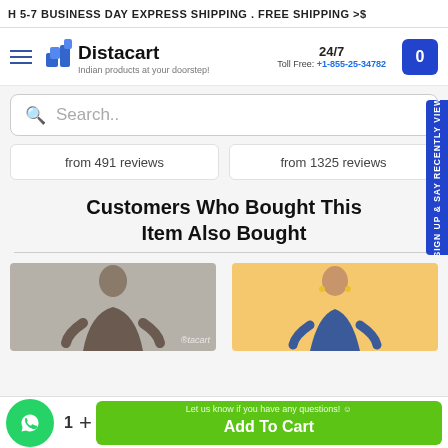H 5-7 BUSINESS DAY EXPRESS SHIPPING . FREE SHIPPING >$
[Figure (logo): Distacart logo with tagline 'Indian products at your doorstep!']
24/7 Toll Free: +1-855-25-34782
Search..
from 491 reviews
from 1325 reviews
Customers Who Bought This Item Also Bought
[Figure (photo): Woman in dark embroidered kurta on grey background]
[Figure (photo): Woman in ethnic wear on yellow/gold background]
Let us know if you have any questions! ☺
1  +  Add To Cart